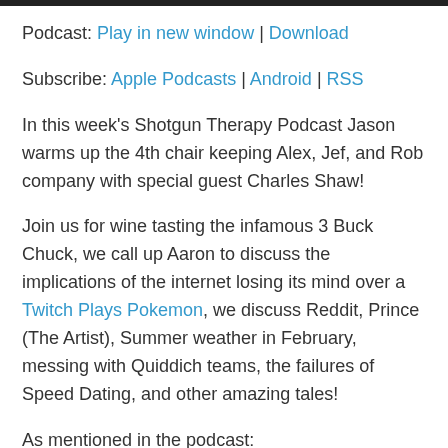Podcast: Play in new window | Download
Subscribe: Apple Podcasts | Android | RSS
In this week's Shotgun Therapy Podcast Jason warms up the 4th chair keeping Alex, Jef, and Rob company with special guest Charles Shaw!
Join us for wine tasting the infamous 3 Buck Chuck, we call up Aaron to discuss the implications of the internet losing its mind over a Twitch Plays Pokemon, we discuss Reddit, Prince (The Artist), Summer weather in February, messing with Quiddich teams, the failures of Speed Dating, and other amazing tales!
As mentioned in the podcast:
Twitch Plays Pokemon
Reddit r/exjw